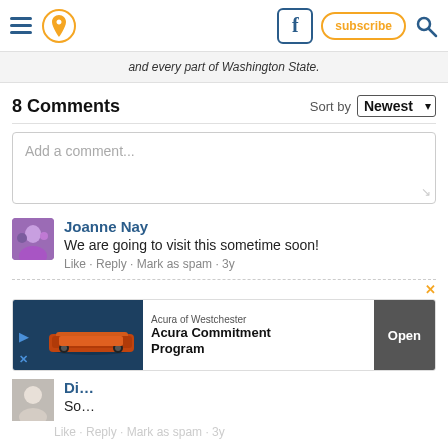Navigation bar with hamburger menu, location pin icon, Facebook button, subscribe button, and search icon
and every part of Washington State.
8 Comments
Sort by Newest
Add a comment...
Joanne Nay
We are going to visit this sometime soon!
Like · Reply · Mark as spam · 3y
[Figure (other): Advertisement banner for Acura of Westchester Acura Commitment Program with Open button]
Like · Reply · Mark as spam · 3y